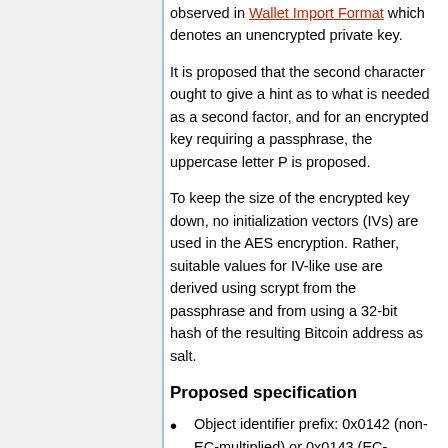observed in Wallet Import Format which denotes an unencrypted private key.
It is proposed that the second character ought to give a hint as to what is needed as a second factor, and for an encrypted key requiring a passphrase, the uppercase letter P is proposed.
To keep the size of the encrypted key down, no initialization vectors (IVs) are used in the AES encryption. Rather, suitable values for IV-like use are derived using scrypt from the passphrase and from using a 32-bit hash of the resulting Bitcoin address as salt.
Proposed specification
Object identifier prefix: 0x0142 (non-EC-multiplied) or 0x0143 (EC-multiplied). These are constant bytes that appear at the beginning of the